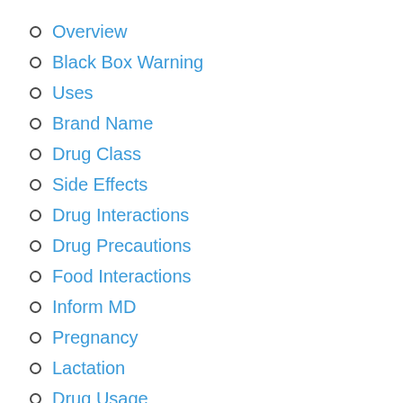Overview
Black Box Warning
Uses
Brand Name
Drug Class
Side Effects
Drug Interactions
Drug Precautions
Food Interactions
Inform MD
Pregnancy
Lactation
Drug Usage
Drug Dosage
Overdose